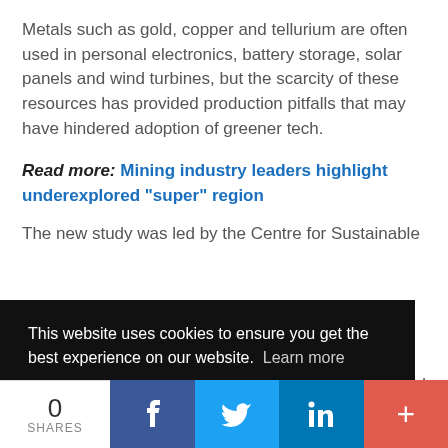Metals such as gold, copper and tellurium are often used in personal electronics, battery storage, solar panels and wind turbines, but the scarcity of these resources has provided production pitfalls that may have hindered adoption of greener tech.
Read more: Mining industry leaders highlight underexplored "super" region
The new study was led by the Centre for Sustainable ... r and ... urnal ... closer
This website uses cookies to ensure you get the best experience on our website. Learn more
Got it!
0 SHARES  f  Twitter  in  +